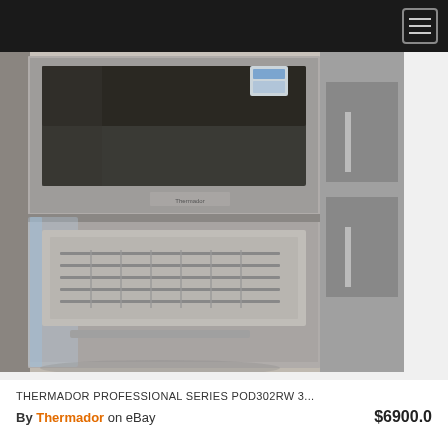[Figure (photo): Thermador Professional Series double wall oven in stainless steel, shown in a showroom setting with protective plastic wrap still on the lower oven door. The upper oven has a glass door showing the interior, and the lower oven has a glass door with visible oven racks. Adjacent stainless steel appliances are visible on the right side.]
THERMADOR PROFESSIONAL SERIES POD302RW 3...
By Thermador on eBay  $6900.0